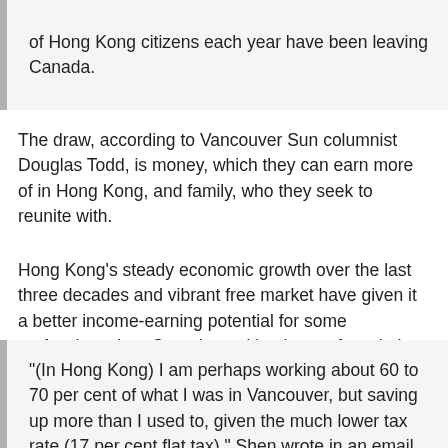of Hong Kong citizens each year have been leaving Canada.
The draw, according to Vancouver Sun columnist Douglas Todd, is money, which they can earn more of in Hong Kong, and family, who they seek to reunite with.
Hong Kong's steady economic growth over the last three decades and vibrant free market have given it a better income-earning potential for some professions than Canada, making it a preferred place to live for some Canadian citizens, like Edward Shen:
“(In Hong Kong) I am perhaps working about 60 to 70 per cent of what I was in Vancouver, but saving up more than I used to, given the much lower tax rate (17 per cent flat tax),” Shen wrote in an email.